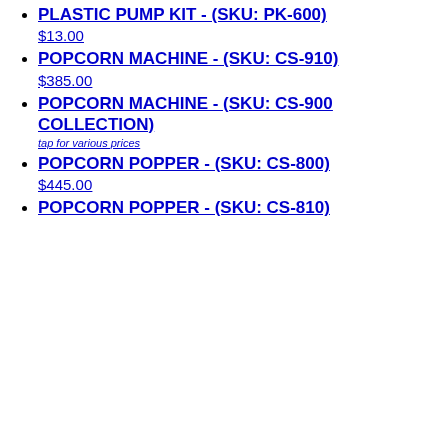PLASTIC PUMP KIT - (SKU: PK-600)
$13.00
POPCORN MACHINE - (SKU: CS-910)
$385.00
POPCORN MACHINE - (SKU: CS-900 COLLECTION)
tap for various prices
POPCORN POPPER - (SKU: CS-800)
$445.00
POPCORN POPPER - (SKU: CS-810)